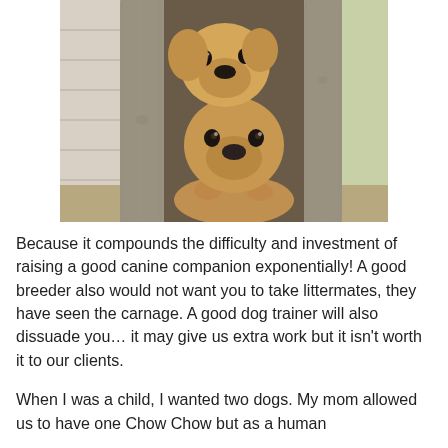[Figure (photo): Two golden-colored puppies peeking through a gap between wooden fence boards, looking directly at the camera.]
Because it compounds the difficulty and investment of raising a good canine companion exponentially!  A good breeder also would not want you to take littermates, they have seen the carnage.  A good dog trainer will also dissuade you… it may give us extra work but it isn't worth it to our clients.
When I was a child, I wanted two dogs.  My mom allowed us to have one Chow Chow but as a human